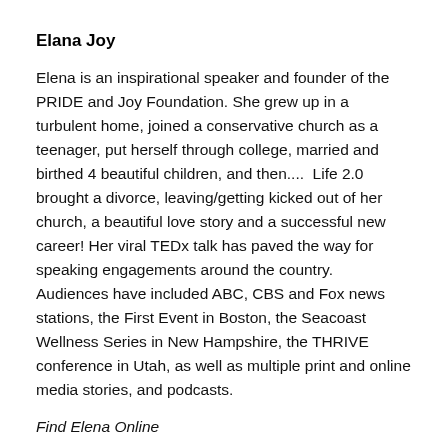Elana Joy
Elena is an inspirational speaker and founder of the PRIDE and Joy Foundation. She grew up in a turbulent home, joined a conservative church as a teenager, put herself through college, married and birthed 4 beautiful children, and then....  Life 2.0 brought a divorce, leaving/getting kicked out of her church, a beautiful love story and a successful new career! Her viral TEDx talk has paved the way for speaking engagements around the country.  Audiences have included ABC, CBS and Fox news stations, the First Event in Boston, the Seacoast Wellness Series in New Hampshire, the THRIVE conference in Utah, as well as multiple print and online media stories, and podcasts.
Find Elena Online